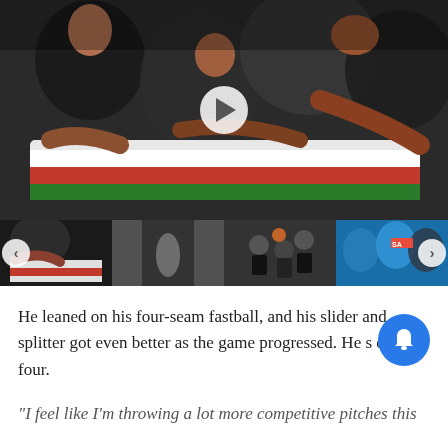[Figure (photo): People grieving over a flag-draped body, appearing to be a funeral scene. Multiple people in dark clothing lean over and touch what appears to be a coffin covered with a flag. A video play button is overlaid in the center.]
[Figure (photo): Thumbnail 1: Similar funeral/grieving scene with red and white colors]
[Figure (photo): Thumbnail 2: Dark tunnel or cave-like scene with a figure]
[Figure (photo): Thumbnail 3: Basketball game action scene with players competing]
[Figure (photo): Thumbnail 4: People in a crowd, possibly a political event, with blue and red colors]
He leaned on his four-seam fastball, and his slider and splitter got even better as the game progressed. He s out four.
"I feel like I'm throwing a lot more competitive pitches this